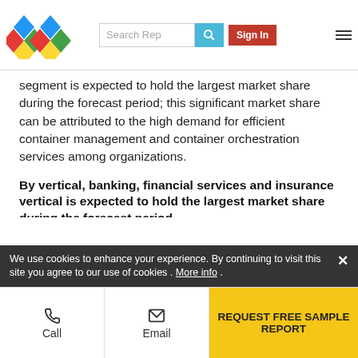Search Rep | Sign In
segment is expected to hold the largest market share during the forecast period; this significant market share can be attributed to the high demand for efficient container management and container orchestration services among organizations.
By vertical, banking, financial services and insurance vertical is expected to hold the largest market share during the forecast period
The application container market has been segmented based on different verticals, namely, telecommunications and IT, education, BFSI, media and entertainment, healthcare and life sciences, retail and e-commerce, and the BFSI segment is anticipated to hold the largest … at the highest CAGR
We use cookies to enhance your experience. By continuing to visit this site you agree to our use of cookies . More info .
Call | Email | REQUEST FREE SAMPLE REPORT